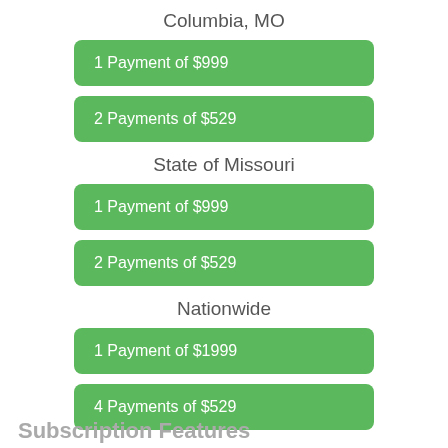Columbia, MO
1 Payment of $999
2 Payments of $529
State of Missouri
1 Payment of $999
2 Payments of $529
Nationwide
1 Payment of $1999
4 Payments of $529
Subscription Features